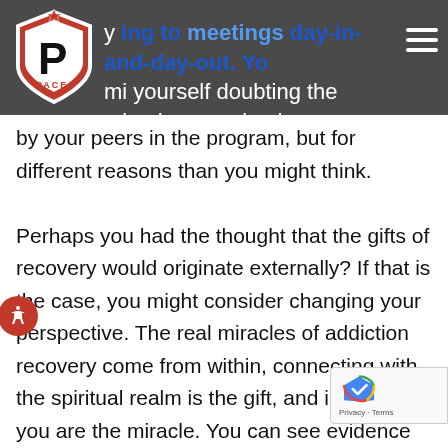y[...] ing to meetings day-in-and-day-out. You mi[...] yourself doubting the miracles promised
by your peers in the program, but for different reasons than you might think.

Perhaps you had the thought that the gifts of recovery would originate externally? If that is the case, you might consider changing your perspective. The real miracles of addiction recovery come from within, connecting with the spiritual realm is the gift, and in recovery, you are the miracle. You can see evidence of that when considering your existence before finding addiction recovery and after. The transformation may not be evident right away, time all shall reveal itself to you—as long as you are